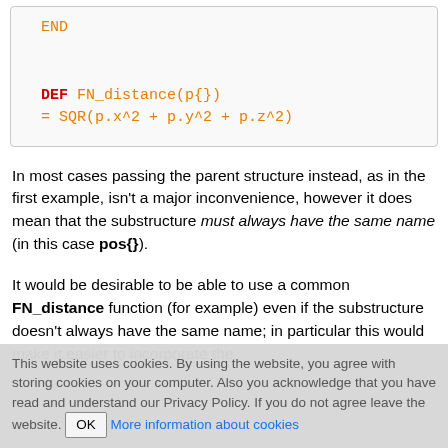[Figure (other): Code block showing: END keyword (orange), then DEF FN_distance(p{}) = SQR(p.x^2 + p.y^2 + p.z^2)]
In most cases passing the parent structure instead, as in the first example, isn't a major inconvenience, however it does mean that the substructure must always have the same name (in this case pos{}).
It would be desirable to be able to use a common FN_distance function (for example) even if the substructure doesn't always have the same name; in particular this would make it easier to incorporate the
This website uses cookies. By using the website, you agree with storing cookies on your computer. Also you acknowledge that you have read and understand our Privacy Policy. If you do not agree leave the website. OK More information about cookies